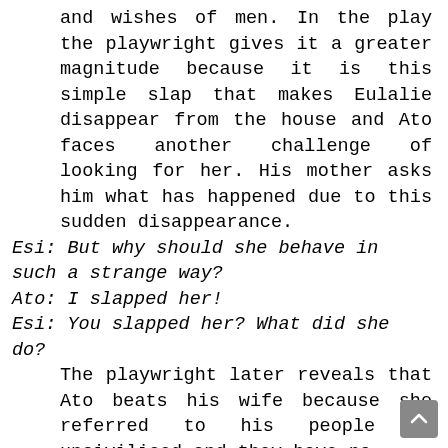and wishes of men. In the play the playwright gives it a greater magnitude because it is this simple slap that makes Eulalie disappear from the house and Ato faces another challenge of looking for her. His mother asks him what has happened due to this sudden disappearance.
Esi: But why should she behave in such a strange way?
Ato: I slapped her!
Esi: You slapped her? What did she do?
The playwright later reveals that Ato beats his wife because she referred to his people as uncivilised and they have no